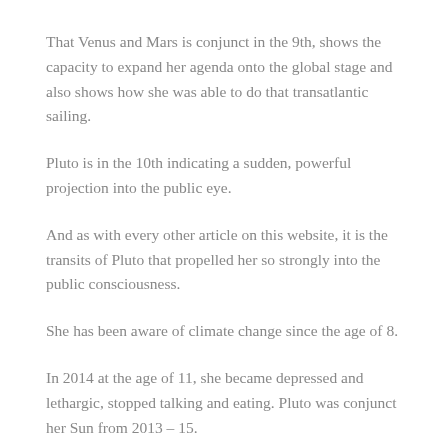That Venus and Mars is conjunct in the 9th, shows the capacity to expand her agenda onto the global stage and also shows how she was able to do that transatlantic sailing.
Pluto is in the 10th indicating a sudden, powerful projection into the public eye.
And as with every other article on this website, it is the transits of Pluto that propelled her so strongly into the public consciousness.
She has been aware of climate change since the age of 8.
In 2014 at the age of 11, she became depressed and lethargic, stopped talking and eating. Pluto was conjunct her Sun from 2013 – 15.